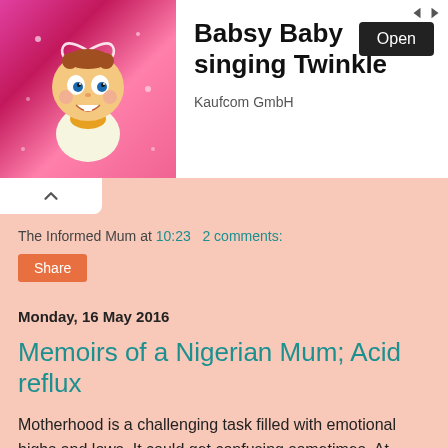[Figure (screenshot): Advertisement banner for 'Babsy Baby singing Twinkle' app by Kaufcom GmbH, showing a cartoon baby character on a pink background with an Open button and navigation arrows]
The Informed Mum at 10:23   2 comments:
Share
Monday, 16 May 2016
Memoirs of a Nigerian Mum; Acid reflux
Motherhood is a challenging task filled with emotional highs and lows. It could get confusing sometimes. At points when you do not know what to do you find out there are myriads of advice which are often conflicting and leaves you confused. If you are Internet savvy you could try searching the challenging issue on the internet ; this could leave you even more confused. If it is a health-related issue, the best person